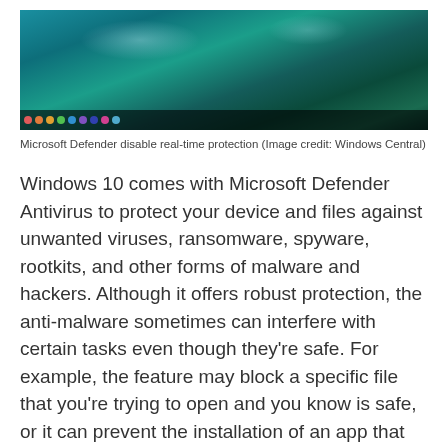[Figure (screenshot): Screenshot of Microsoft Defender showing a Windows desktop with a teal/green nature wallpaper and a dark taskbar at the bottom with colored icons]
Microsoft Defender disable real-time protection (Image credit: Windows Central)
Windows 10 comes with Microsoft Defender Antivirus to protect your device and files against unwanted viruses, ransomware, spyware, rootkits, and other forms of malware and hackers. Although it offers robust protection, the anti-malware sometimes can interfere with certain tasks even though they're safe. For example, the feature may block a specific file that you're trying to open and you know is safe, or it can prevent the installation of an app that you know comes from a trusted source.